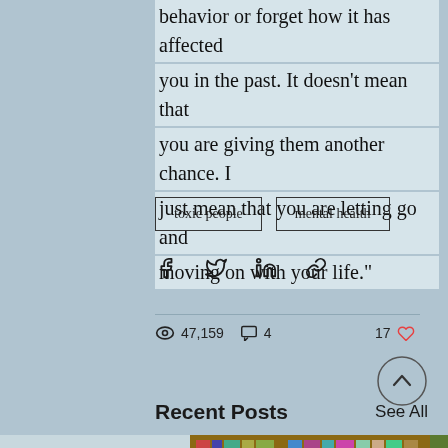behavior or forget how it has affected you in the past. It doesn't mean that you are giving them another chance. I just mean that you are letting go and moving on with your life."
toxic people | mental health
[Figure (infographic): Social share icons: Facebook, Twitter, LinkedIn, Link]
47,159 views, 4 comments, 17 likes
[Figure (other): Scroll to top button with caret/chevron icon]
Recent Posts
See All
[Figure (photo): Bottom strip showing bookshelf with books and a hand on the left side]
[Figure (other): Blue circular button with three white dots (ellipsis/more options)]